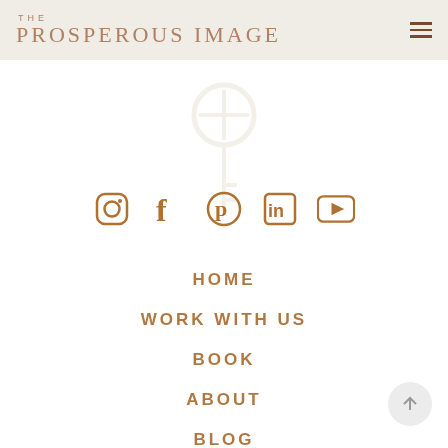THE PROSPEROUS IMAGE
[Figure (logo): Key logo watermark in center of page]
[Figure (infographic): Social media icons row: Instagram, Facebook, Pinterest, LinkedIn, YouTube]
HOME
WORK WITH US
BOOK
ABOUT
BLOG
CONTACT